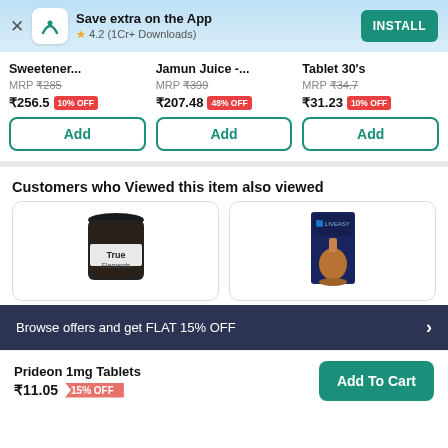[Figure (screenshot): App install banner with teal icon, 'Save extra on the App', rating 4.2 (1Cr+ Downloads), and INSTALL button]
Sweetener...
MRP ₹285
₹256.5 10% OFF
Jamun Juice -...
MRP ₹399
₹207.48 48% OFF
Tablet 30's
MRP ₹34.7
₹31.23 10% OFF
Customers who Viewed this item also viewed
[Figure (photo): Dark jar product (True Elements) in a rounded card]
[Figure (photo): Liveasy bottle product in a rounded card]
Browse offers and get FLAT 15% OFF
Prideon 1mg Tablets
₹11.05 15% OFF